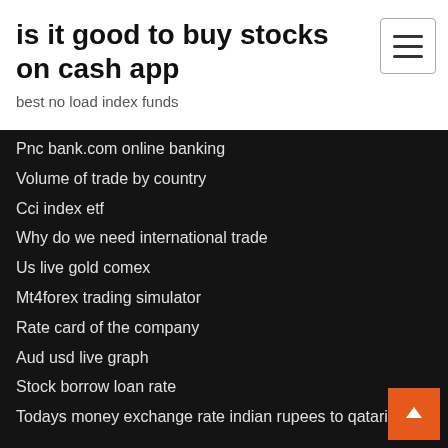is it good to buy stocks on cash app
best no load index funds
Pnc bank.com online banking
Volume of trade by country
Cci index etf
Why do we need international trade
Us live gold comex
Mt4forex trading simulator
Rate card of the company
Aud usd live graph
Stock borrow loan rate
Todays money exchange rate indian rupees to qatari riya